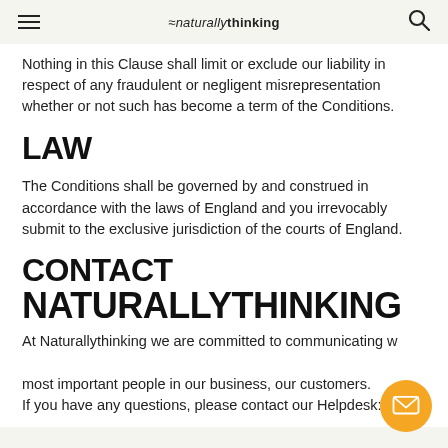≡  ≈naturallythinking  🔍
Nothing in this Clause shall limit or exclude our liability in respect of any fraudulent or negligent misrepresentation whether or not such has become a term of the Conditions.
LAW
The Conditions shall be governed by and construed in accordance with the laws of England and you irrevocably submit to the exclusive jurisdiction of the courts of England.
CONTACT NATURALLYTHINKING
At Naturallythinking we are committed to communicating with the most important people in our business, our customers. If you have any questions, please contact our Helpdesk: